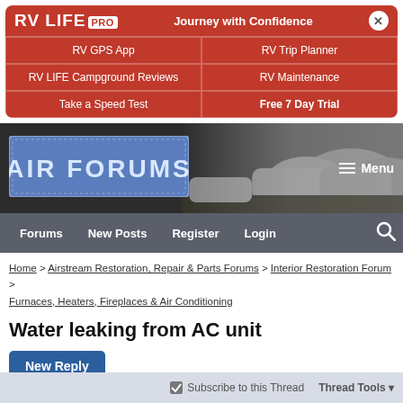[Figure (screenshot): RV LIFE PRO banner with navigation links: Journey with Confidence, RV GPS App, RV Trip Planner, RV LIFE Campground Reviews, RV Maintenance, Take a Speed Test, Free 7 Day Trial]
[Figure (logo): Air Forums logo with Airstream trailers background and Menu button]
[Figure (screenshot): Navigation bar with Forums, New Posts, Register, Login, and Search icon]
Home > Airstream Restoration, Repair & Parts Forums > Interior Restoration Forum > Furnaces, Heaters, Fireplaces & Air Conditioning
Water leaking from AC unit
New Reply
Subscribe to this Thread   Thread Tools